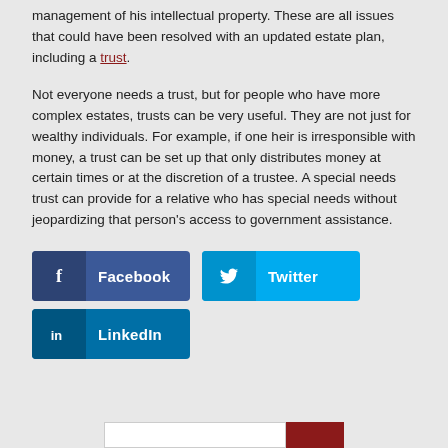management of his intellectual property. These are all issues that could have been resolved with an updated estate plan, including a trust.
Not everyone needs a trust, but for people who have more complex estates, trusts can be very useful. They are not just for wealthy individuals. For example, if one heir is irresponsible with money, a trust can be set up that only distributes money at certain times or at the discretion of a trustee. A special needs trust can provide for a relative who has special needs without jeopardizing that person's access to government assistance.
[Figure (infographic): Social share buttons for Facebook, Twitter, and LinkedIn]
[Figure (infographic): Bottom search bar with red search button]